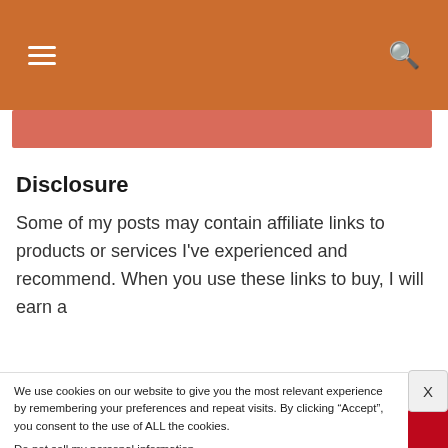[Figure (screenshot): Website navigation header bar in orange/brown color with hamburger menu icon on the left and search icon on the right, plus a pink/salmon sub-bar below]
Disclosure
Some of my posts may contain affiliate links to products or services I've experienced and recommend. When you use these links to buy, I will earn a
We use cookies on our website to give you the most relevant experience by remembering your preferences and repeat visits. By clicking “Accept”, you consent to the use of ALL the cookies.
Do not sell my personal information.
[Figure (screenshot): Social sharing bar at the bottom with Facebook, Twitter, LinkedIn, and Pinterest buttons]